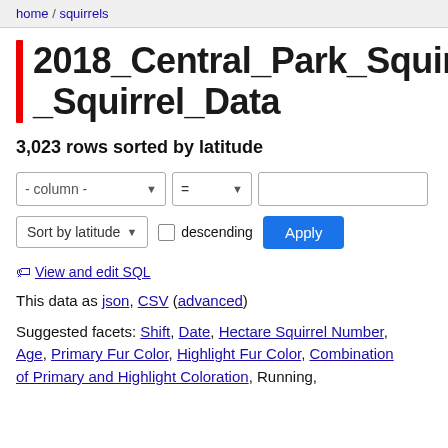home / squirrels
2018_Central_Park_Squirrel_Data
3,023 rows sorted by latitude
View and edit SQL
This data as json, CSV (advanced)
Suggested facets: Shift, Date, Hectare Squirrel Number, Age, Primary Fur Color, Highlight Fur Color, Combination of Primary and Highlight Coloration, Running,